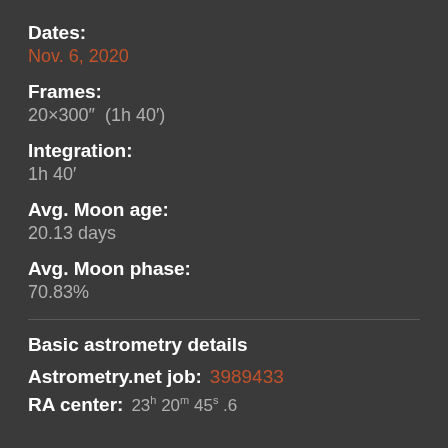Dates:
Nov. 6, 2020
Frames:
20×300″  (1h 40′)
Integration:
1h 40′
Avg. Moon age:
20.13 days
Avg. Moon phase:
70.83%
Basic astrometry details
Astrometry.net job: 3989433
RA center: 23h 20m 45s .6